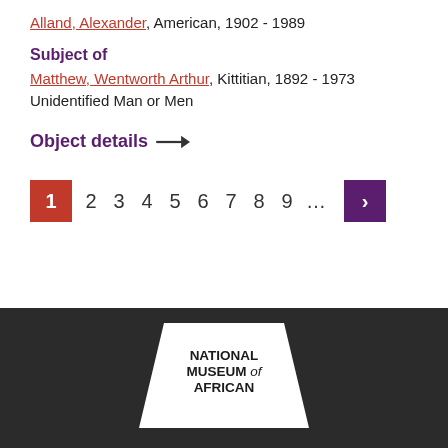Alland, Alexander, American, 1902 - 1989
Subject of
Matthew, Wentworth Arthur, Kittitian, 1892 - 1973
Unidentified Man or Men
Object details →
1 2 3 4 5 6 7 8 9 … >
[Figure (logo): National Museum of African American History and Culture logo in white on dark background, trapezoid shape]